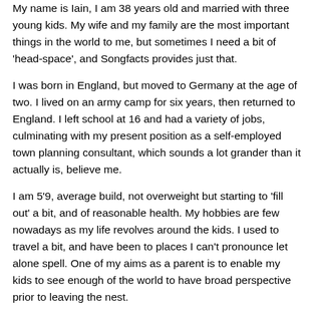My name is Iain, I am 38 years old and married with three young kids. My wife and my family are the most important things in the world to me, but sometimes I need a bit of 'head-space', and Songfacts provides just that.
I was born in England, but moved to Germany at the age of two. I lived on an army camp for six years, then returned to England. I left school at 16 and had a variety of jobs, culminating with my present position as a self-employed town planning consultant, which sounds a lot grander than it actually is, believe me.
I am 5'9, average build, not overweight but starting to 'fill out' a bit, and of reasonable health. My hobbies are few nowadays as my life revolves around the kids. I used to travel a bit, and have been to places I can't pronounce let alone spell. One of my aims as a parent is to enable my kids to see enough of the world to have broad perspective prior to leaving the nest.
My vices include playing with motorbikes, binge drinking when I get the chance, and roll-up fags (in private). Like most of the older people here I suspect, I have had other vices in the past, but now have sufficient common sense to avoid them.
I am generally cheerful except when overstressed. I am not a